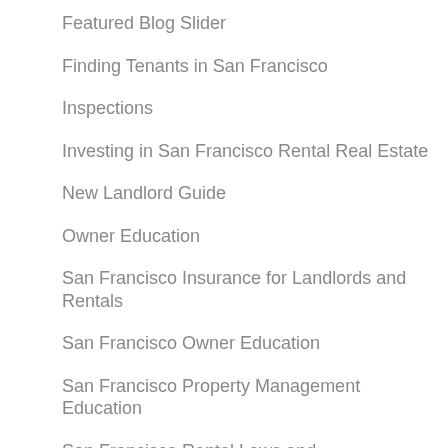Featured Blog Slider
Finding Tenants in San Francisco
Inspections
Investing in San Francisco Rental Real Estate
New Landlord Guide
Owner Education
San Francisco Insurance for Landlords and Rentals
San Francisco Owner Education
San Francisco Property Management Education
San Francisco Rental Laws and